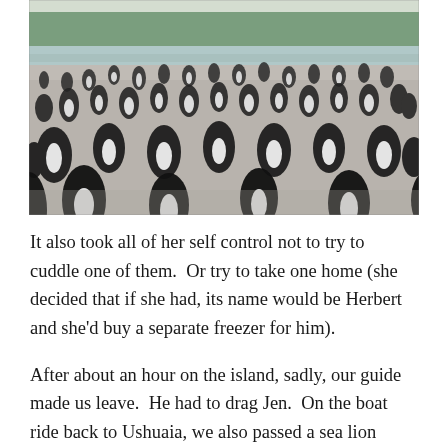[Figure (photo): A large colony of Magellanic penguins on a rocky beach near Ushuaia, Argentina. Hundreds of black and white penguins fill the foreground and middle ground. In the background is a body of water and green forested hills.]
It also took all of her self control not to try to cuddle one of them.  Or try to take one home (she decided that if she had, its name would be Herbert and she'd buy a separate freezer for him).
After about an hour on the island, sadly, our guide made us leave.  He had to drag Jen.  On the boat ride back to Ushuaia, we also passed a sea lion colony, as